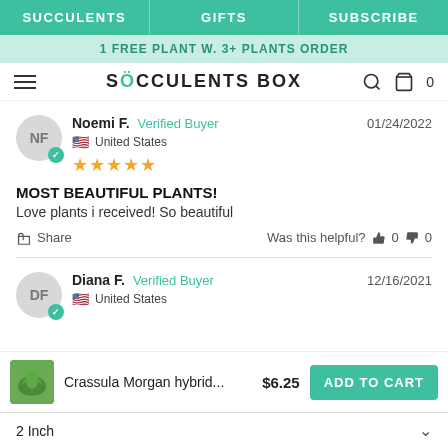SUCCULENTS  GIFTS  SUBSCRIBE
1 FREE PLANT W. 3+ PLANTS ORDER
SUCCULENTS BOX
Noemi F.  Verified Buyer  01/24/2022
United States
★★★★★
MOST BEAUTIFUL PLANTS!
Love plants i received! So beautiful
Share  Was this helpful?  👍 0  👎 0
Diana F.  Verified Buyer  12/16/2021
United States
Crassula Morgan hybrid...  $6.25  ADD TO CART
2 Inch